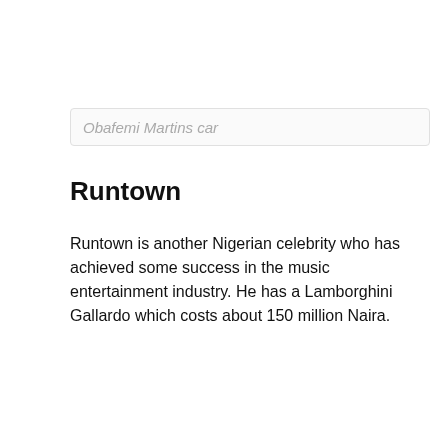Obafemi Martins car
Runtown
Runtown is another Nigerian celebrity who has achieved some success in the music entertainment industry. He has a Lamborghini Gallardo which costs about 150 million Naira.